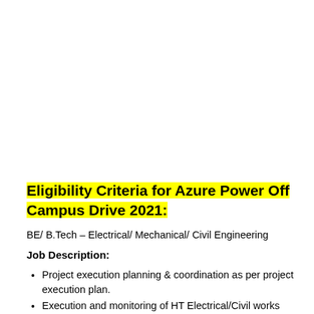Eligibility Criteria for Azure Power Off Campus Drive 2021:
BE/ B.Tech – Electrical/ Mechanical/ Civil Engineering
Job Description:
Project execution planning & coordination as per project execution plan.
Execution and monitoring of HT Electrical/Civil works